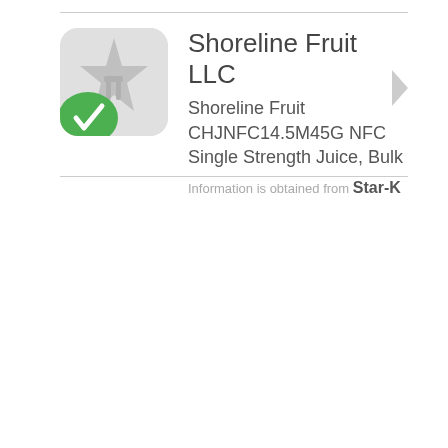[Figure (logo): Kosher certification app logo: rounded square with gray star shape and green circle checkmark overlay]
Shoreline Fruit LLC
Shoreline Fruit CHJNFC14.5M45G NFC Single Strength Juice, Bulk
Information is obtained from Star-K